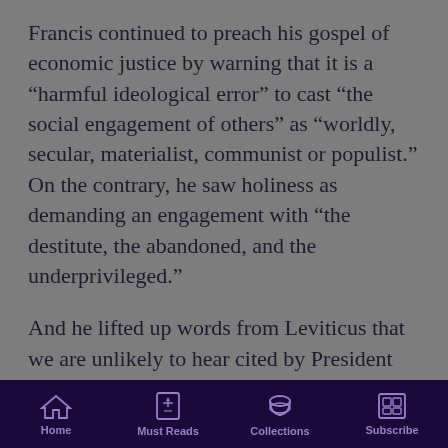Francis continued to preach his gospel of economic justice by warning that it is a “harmful ideological error” to cast “the social engagement of others” as “worldly, secular, materialist, communist or populist.” On the contrary, he saw holiness as demanding an engagement with “the destitute, the abandoned, and the underprivileged.”
And he lifted up words from Leviticus that we are unlikely to hear cited by President Trump: “When a stranger resides with you in your land, you shall not oppress him.”
It’s not often that public figures hold themselves to the standards they apply to others. There was thus an instructive symmetry between what Francis said in
Home | Must Reads | Collections | Subscribe